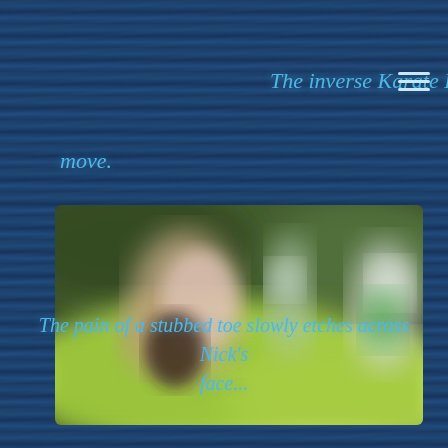The inverse Karate Kid move.
[Figure (photo): Blurred outdoor photo of people on a bright green grass area, figures in motion, trees in background. Image appears heavily blurred/defocused.]
The pain of a stubbed toe slowly etches across Nick's face...